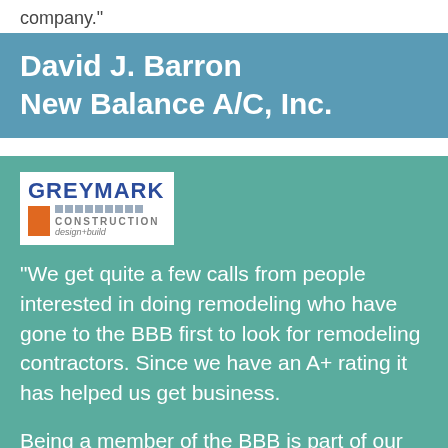company."
David J. Barron
New Balance A/C, Inc.
[Figure (logo): Greymark Construction design+build logo — white background with blue GREYMARK text, orange square block, gray dot grid, and CONSTRUCTION text]
"We get quite a few calls from people interested in doing remodeling who have gone to the BBB first to look for remodeling contractors. Since we have an A+ rating it has helped us get business.
Being a member of the BBB is part of our marketing plan and